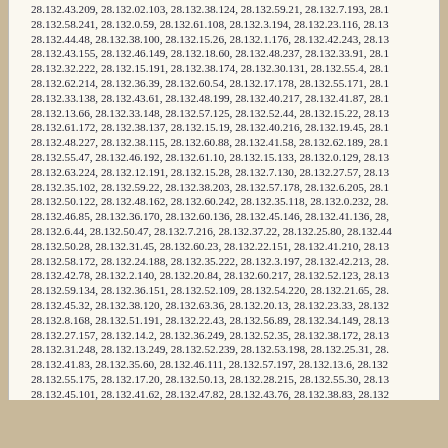28.132.43.209, 28.132.02.103, 28.132.38.124, 28.132.59.21, 28.132.7.193, 28.132.58.241, 28.132.0.59, 28.132.61.108, 28.132.3.194, 28.132.23.116, 28.132.44.48, 28.132.38.100, 28.132.15.26, 28.132.1.176, 28.132.42.243, 28.132.43.155, 28.132.46.149, 28.132.18.60, 28.132.48.237, 28.132.33.91, 28.132.32.222, 28.132.15.191, 28.132.38.174, 28.132.30.131, 28.132.55.4, 28.132.62.214, 28.132.36.39, 28.132.60.54, 28.132.17.178, 28.132.55.171, 28.132.33.138, 28.132.43.61, 28.132.48.199, 28.132.40.217, 28.132.41.87, 28.132.13.66, 28.132.33.148, 28.132.57.125, 28.132.52.44, 28.132.15.22, 28.132.61.172, 28.132.38.137, 28.132.15.19, 28.132.40.216, 28.132.19.45, 28.132.48.227, 28.132.38.115, 28.132.60.88, 28.132.41.58, 28.132.62.189, 28.132.55.47, 28.132.46.192, 28.132.61.10, 28.132.15.133, 28.132.0.129, 28.132.63.224, 28.132.12.191, 28.132.15.28, 28.132.7.130, 28.132.27.57, 28.132.35.102, 28.132.59.22, 28.132.38.203, 28.132.57.178, 28.132.6.205, 28.132.50.122, 28.132.48.162, 28.132.60.242, 28.132.35.118, 28.132.0.232, 28.132.46.85, 28.132.36.170, 28.132.60.136, 28.132.45.146, 28.132.41.136, 28.132.6.44, 28.132.50.47, 28.132.7.216, 28.132.37.22, 28.132.25.80, 28.132.44, 28.132.50.28, 28.132.31.45, 28.132.60.23, 28.132.22.151, 28.132.41.210, 28.132.58.172, 28.132.24.188, 28.132.35.222, 28.132.3.197, 28.132.42.213, 28.132.42.78, 28.132.2.140, 28.132.20.84, 28.132.60.217, 28.132.52.123, 28.132.59.134, 28.132.36.151, 28.132.52.109, 28.132.54.220, 28.132.21.65, 28.132.45.32, 28.132.38.120, 28.132.63.36, 28.132.20.13, 28.132.23.33, 28.132.8.168, 28.132.51.191, 28.132.22.43, 28.132.56.89, 28.132.34.149, 28.132.27.157, 28.132.14.2, 28.132.36.249, 28.132.52.35, 28.132.38.172, 28.132.31.248, 28.132.13.249, 28.132.52.239, 28.132.53.198, 28.132.25.31, 28.132.41.83, 28.132.35.60, 28.132.46.111, 28.132.57.197, 28.132.13.6, 28.132.55.175, 28.132.17.20, 28.132.50.13, 28.132.28.215, 28.132.55.30, 28.132.45.101, 28.132.41.62, 28.132.47.82, 28.132.43.76, 28.132.38.83, 28.132.60.61, 28.132.37.252, 28.132.21.124, 28.132.46.98, 28.132.47.134, 28.1